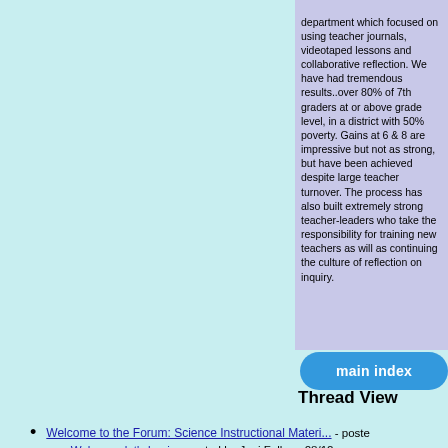department which focused on using teacher journals, videotaped lessons and collaborative reflection. We have had tremendous results..over 80% of 7th graders at or above grade level, in a district with 50% poverty. Gains at 6 & 8 are impressive but not as strong, but have been achieved despite large teacher turnover. The process has also built extremely strong teacher-leaders who take the responsibility for training new teachers as will as continuing the culture of reflection on inquiry.
[Figure (other): Blue oval button labeled 'main index']
Thread View
Welcome to the Forum: Science Instructional Materi... - posted
Welcome, let's begin - posted by Joni Falk on 08/12
Response from Gail Paulin-DESERT project - posted
"Non-official" perspectives welcome! - posted by Jor
MS curriculum reply from Mary Kay Swanson - poste
Gail Paulin's Comments - posted by Scott Hays on
Middle School Science Curriculum - posted by Janie
MS discussion - posted by Gail Paulin on 08/16/99
Middle School Curriculum - posted by Jerry Valadez
Re: request for your input - posted by Vicki Graber o
Brief reply - posted by Peter Dow on 08/16/99 - 11:5
Middle School Science - posted by Tom Archer on 0
Reply from Barbara Fitzsimmons - posted by Barbar